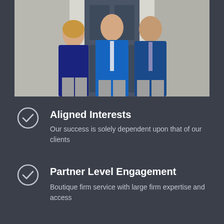[Figure (photo): Three professionals (two men and one woman) in business attire standing in front of a building entrance with white columns and a dark door.]
Aligned Interests
Our success is solely dependent upon that of our clients
Partner Level Engagement
Boutique firm service with large firm expertise and access